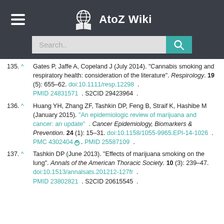[Figure (other): AtoZ Wiki website header with hamburger menu, globe/book logo, site name 'AtoZ Wiki', and a search bar with teal search button]
135. ^ Gates P, Jaffe A, Copeland J (July 2014). "Cannabis smoking and respiratory health: consideration of the literature". Respirology. 19 (5): 655–62. doi:10.1111/resp.12298 . PMID 24831571 . S2CID 29423964 .
136. ^ Huang YH, Zhang ZF, Tashkin DP, Feng B, Straif K, Hashibe M (January 2015). "An epidemiologic review of marijuana and cancer: an update" . Cancer Epidemiology, Biomarkers & Prevention. 24 (1): 15–31. doi:10.1158/1055-9965.EPI-14-1026 . PMC 4302404. PMID 25587109 .
137. ^ Tashkin DP (June 2013). "Effects of marijuana smoking on the lung". Annals of the American Thoracic Society. 10 (3): 239–47. doi:10.1513/annalsats.201212-127fr . PMID 23802821 . S2CID 20615545 .